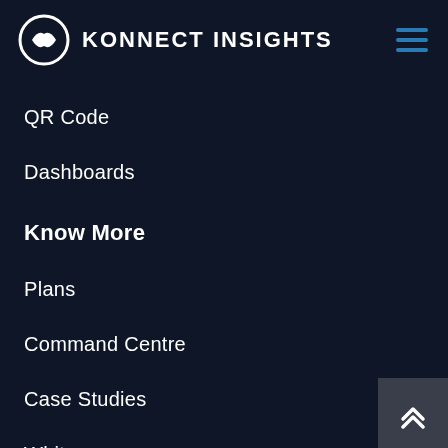KONNECT INSIGHTS
QR Code
Dashboards
Know More
Plans
Command Centre
Case Studies
Whitepapers
Migrate
Marketplace